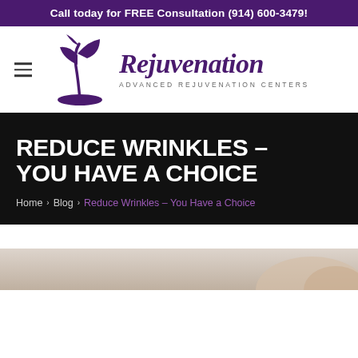Call today for FREE Consultation (914) 600-3479!
[Figure (logo): Rejuvenation Advanced Rejuvenation Centers logo with plant/leaf SVG graphic and script wordmark]
REDUCE WRINKLES – YOU HAVE A CHOICE
Home › Blog › Reduce Wrinkles – You Have a Choice
[Figure (photo): Partial photo at bottom of page, light background with what appears to be a face or skin treatment image]